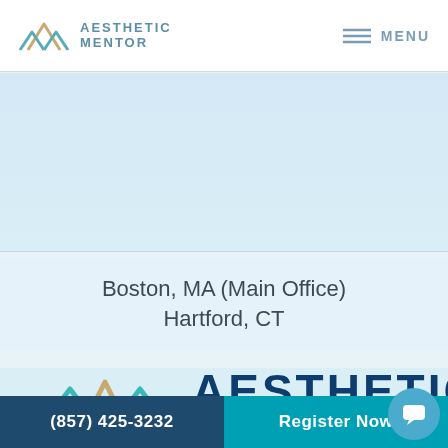AESTHETIC MENTOR | MENU
[Figure (logo): Aesthetic Mentor logo with stylized mountain/M icon in teal and gold, with text AESTHETIC MENTOR in teal blue]
Boston, MA (Main Office)
Hartford, CT
[Figure (logo): Aesthetic Mentor large logo at bottom with mountain/M icon in teal and gold, and large bold AESTHETIC text in dark navy]
(857) 425-3232 | Register Now